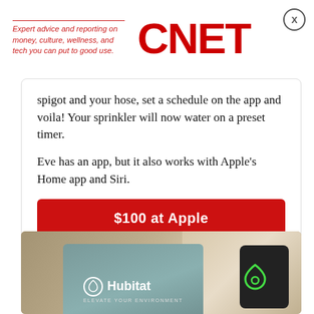Expert advice and reporting on money, culture, wellness, and tech you can put to good use. CNET
spigot and your hose, set a schedule on the app and voila! Your sprinkler will now water on a preset timer.

Eve has an app, but it also works with Apple's Home app and Siri.
$100 at Apple
[Figure (photo): Product photo showing Hubitat smart home hub device and packaging, with a person relaxing on a couch in the background]